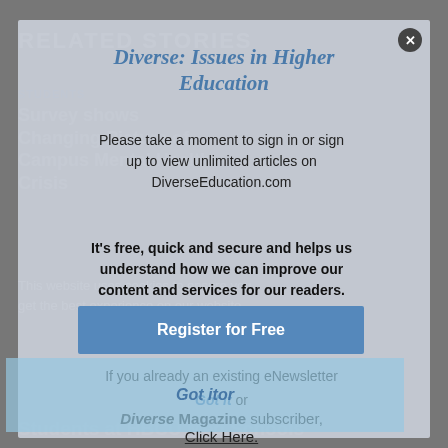RELATED STORIES
STUDENTS
Survey shows Changing Picture of Campus Mental Health Crisis
[Figure (screenshot): Website modal popup for Diverse: Issues in Higher Education requesting sign-in or registration to view unlimited articles on DiverseEducation.com]
Diverse: Issues in Higher Education
Please take a moment to sign in or sign up to view unlimited articles on DiverseEducation.com
It's free, quick and secure and helps us understand how we can improve our content and services for our readers.
Register for Free
If you already an existing eNewsletter
Got it or
Diverse Magazine subscriber,
Click Here.
This website uses cookies to ensure you get the best experience on our website Learn more
Students at HBCU Med Schools